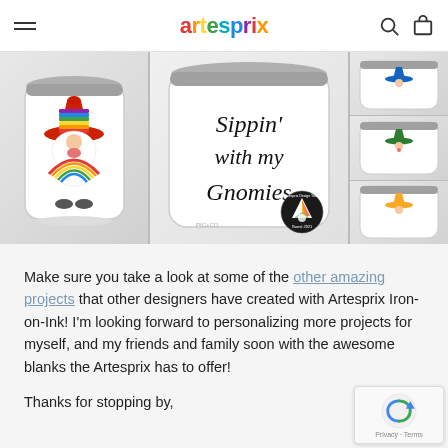artesprix
[Figure (photo): Product photo collage showing white stemless wine tumblers decorated with gnome characters. Left panel: tumbler with rainbow-hat gnome holding rainbow. Center panel: tumbler showing cursive text 'Sippin' with my Gnomies' with Artesprix Design Team badge. Right column: three smaller photos of tumblers with gnomes wearing blue, green, and yellow hats.]
Make sure you take a look at some of the other amazing projects that other designers have created with Artesprix Iron-on-Ink! I'm looking forward to personalizing more projects for myself, and my friends and family soon with the awesome blanks the Artesprix has to offer!
Thanks for stopping by,